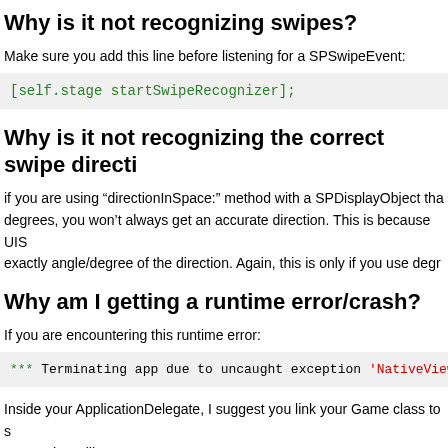Why is it not recognizing swipes?
Make sure you add this line before listening for a SPSwipeEvent:
[self.stage startSwipeRecognizer];
Why is it not recognizing the correct swipe directi
if you are using “directionInSpace:” method with a SPDisplayObject tha degrees, you won’t always get an accurate direction. This is because UIS exactly angle/degree of the direction. Again, this is only if you use degr
Why am I getting a runtime error/crash?
If you are encountering this runtime error:
*** Terminating app due to uncaught exception 'NativeViewW
Inside your ApplicationDelegate, I suggest you link your Game class to s Game class, like so:
- (BOOL)application:(UIApplication *)application didFinis